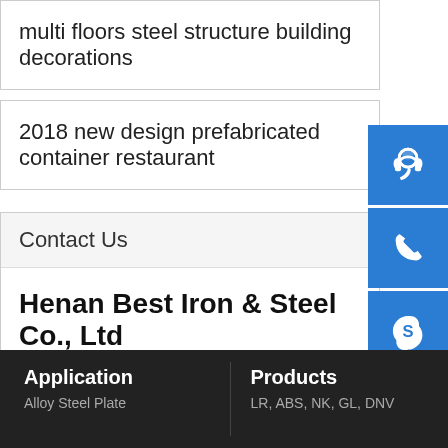multi floors steel structure building decorations
2018 new design prefabricated container restaurant
Contact Us
Henan Best Iron & Steel Co., Ltd
Tel: 0086-371-86151827
E-Mail: leebbnsteel@outlook.com
Address: Development Zone, Zhengzhou, China
Application
Products
Alloy Steel Plate
LR, ABS, NK, GL, DNV